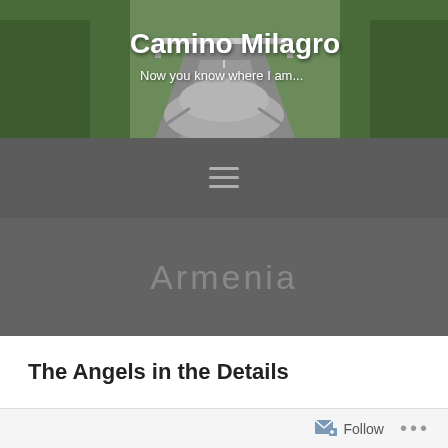[Figure (photo): Road scene viewed from behind a horse/donkey, with trees on either side and a bridge in the background. Used as the website header image.]
Camino Milagro
Now you know where I am...
[Figure (other): Hamburger menu icon (three horizontal lines) on a dark gray navigation bar]
Armenia
The Angels in the Details
Follow